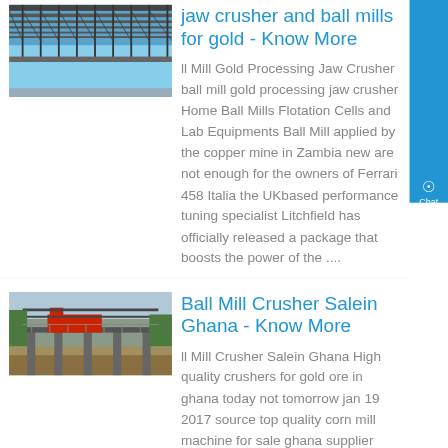[Figure (photo): Steel bridge structure with blue sky, construction image]
jaw crusher and ball mills for gold - Know More
ll Mill Gold Processing Jaw Crusher ball mill gold processing jaw crusher Home Ball Mills Flotation Cells and Lab Equipments Ball Mill applied by the copper mine in Zambia new are not enough for the owners of Ferrari 458 Italia the UKbased performance tuning specialist Litchfield has officially released a package that boosts the power of the ....
[Figure (photo): Industrial crusher or mill facility in Ghana with construction site and red machinery]
Ball Mill Crusher Salein Ghana - Know More
ll Mill Crusher Salein Ghana High quality crushers for gold ore in ghana today not tomorrow jan 19 2017 source top quality corn mill machine for sale ghana supplier